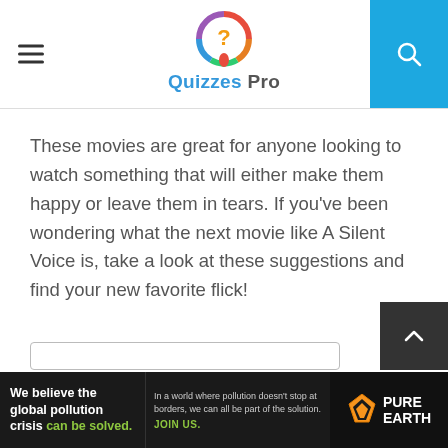Quizzes Pro
These movies are great for anyone looking to watch something that will either make them happy or leave them in tears. If you've been wondering what the next movie like A Silent Voice is, take a look at these suggestions and find your new favorite flick!
[Figure (screenshot): Advertisement banner for Pure Earth: 'We believe the global pollution crisis can be solved.' with Pure Earth logo]